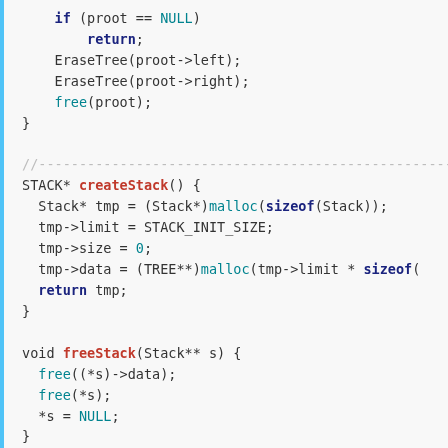[Figure (screenshot): C source code snippet showing EraseTree function tail, createStack function, freeStack function, and beginning of push function, with syntax highlighting (keywords in dark blue bold, function names in red bold, built-ins like free/malloc/NULL in teal).]